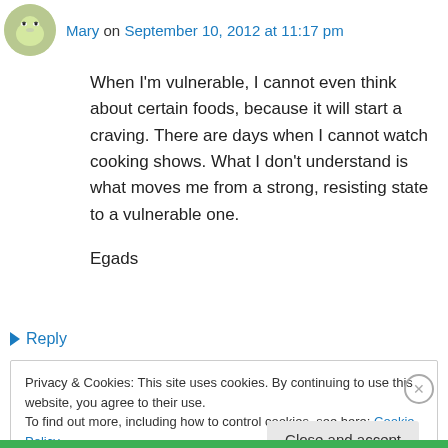Mary on September 10, 2012 at 11:17 pm
When I'm vulnerable, I cannot even think about certain foods, because it will start a craving. There are days when I cannot watch cooking shows. What I don't understand is what moves me from a strong, resisting state to a vulnerable one.

Egads
↳ Reply
Privacy & Cookies: This site uses cookies. By continuing to use this website, you agree to their use.
To find out more, including how to control cookies, see here: Cookie Policy